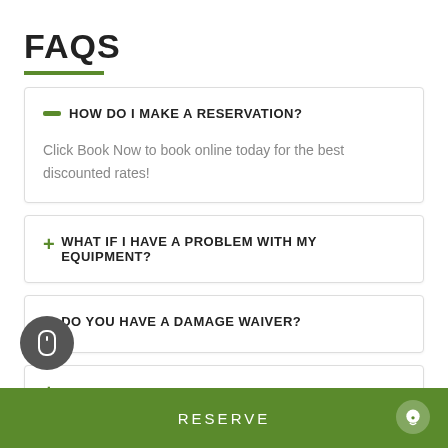FAQS
HOW DO I MAKE A RESERVATION?
Click Book Now to book online today for the best discounted rates!
WHAT IF I HAVE A PROBLEM WITH MY EQUIPMENT?
DO YOU HAVE A DAMAGE WAIVER?
HOW DOES THE DELIVERY PROCESS WORK?
RESERVE